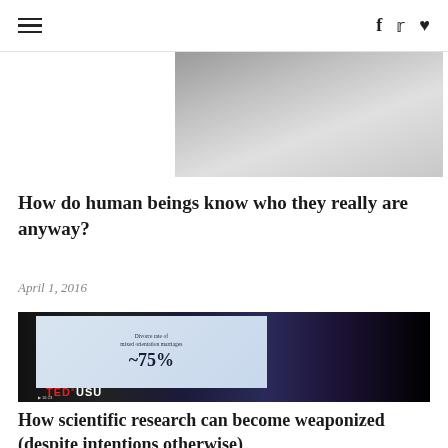☰  f  🐦  ♥
[Figure (photo): Partial view of a person in white shirt, black and white photograph, cropped at top]
How do human beings know who they really are anyway?
April 1, 2016
[Figure (photo): TEDxUSU talk photo showing a speaker on stage next to a slide reading 'Divorce rate of mixed orientation marriages ~75%' with TEDxUSU branding visible]
How scientific research can become weaponized (despite intentions otherwise)
December 21, 2016